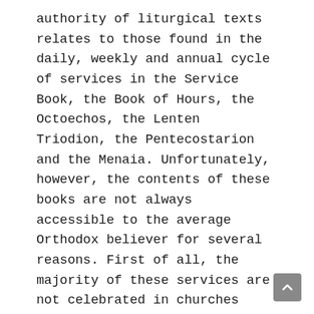authority of liturgical texts relates to those found in the daily, weekly and annual cycle of services in the Service Book, the Book of Hours, the Octoechos, the Lenten Triodion, the Pentecostarion and the Menaia. Unfortunately, however, the contents of these books are not always accessible to the average Orthodox believer for several reasons. First of all, the majority of these services are not celebrated in churches that do not have daily services, and even in those that do, they are abbreviated (the Synaxarion, for example, is left out almost everywhere). Secondly, liturgical texts are read and sung in Church Slavonic, which not everyone can understand. Thirdly, many hymns are sung in church only once or a few times during the year, and are difficult to understand when heard, even if one knows Church Slavonic. Fourthly, Orthodox liturgical texts are essentially works of Byzantine liturgical poetry translated into Slavonic many centuries ago, and are